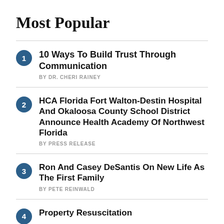Most Popular
10 Ways To Build Trust Through Communication
HCA Florida Fort Walton-Destin Hospital And Okaloosa County School District Announce Health Academy Of Northwest Florida
Ron And Casey DeSantis On New Life As The First Family
Property Resuscitation